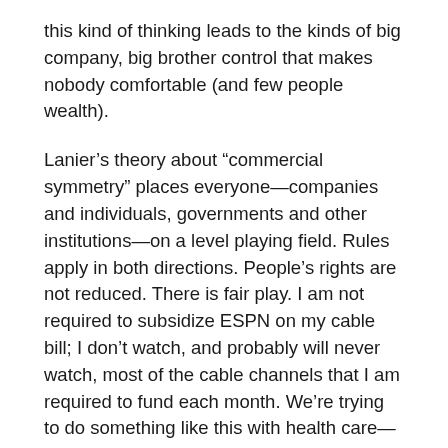this kind of thinking leads to the kinds of big company, big brother control that makes nobody comfortable (and few people wealth).
Lanier’s theory about “commercial symmetry” places everyone—companies and individuals, governments and other institutions—on a level playing field. Rules apply in both directions. People’s rights are not reduced. There is fair play. I am not required to subsidize ESPN on my cable bill; I don’t watch, and probably will never watch, most of the cable channels that I am required to fund each month. We’re trying to do something like this with health care—patient rights and all of that—but the health care system is not likely to share information about its economics. Students are graded by teachers, but (most of the time), teachers are not graded by students or (much of the time) by their employers or the larger body of taxpayers who